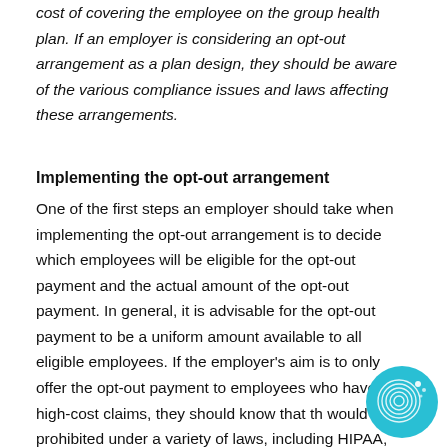cost of covering the employee on the group health plan. If an employer is considering an opt-out arrangement as a plan design, they should be aware of the various compliance issues and laws affecting these arrangements.
Implementing the opt-out arrangement
One of the first steps an employer should take when implementing the opt-out arrangement is to decide which employees will be eligible for the opt-out payment and the actual amount of the opt-out payment. In general, it is advisable for the opt-out payment to be a uniform amount available to all eligible employees. If the employer's aim is to only offer the opt-out payment to employees who have high-cost claims, they should know that that would be prohibited under a variety of laws, including HIPAA, which prohibits discrimination
[Figure (logo): Circular teal/cyan logo with fingerprint-like swirl pattern and small dots]